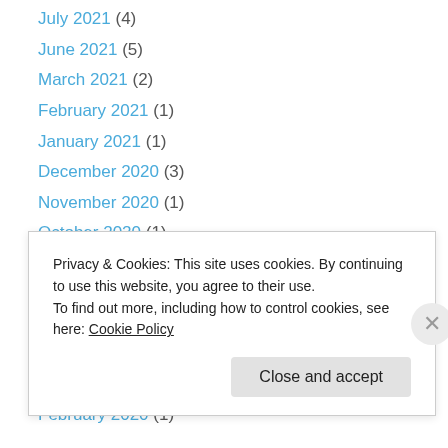July 2021 (4)
June 2021 (5)
March 2021 (2)
February 2021 (1)
January 2021 (1)
December 2020 (3)
November 2020 (1)
October 2020 (1)
September 2020 (1)
July 2020 (1)
May 2020 (2)
April 2020 (2)
March 2020 (2)
Privacy & Cookies: This site uses cookies. By continuing to use this website, you agree to their use. To find out more, including how to control cookies, see here: Cookie Policy
Close and accept